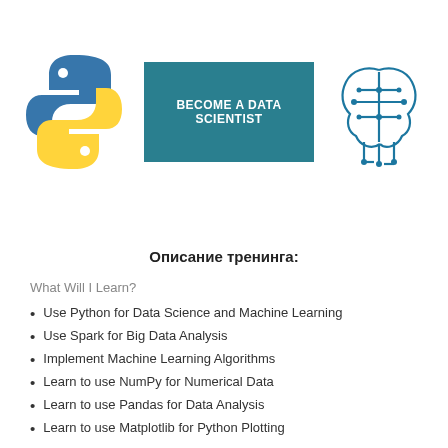[Figure (illustration): Python logo (blue and yellow snake), teal banner with text BECOME A DATA SCIENTIST, and a circuit-brain AI icon in blue]
Описание тренинга:
What Will I Learn?
Use Python for Data Science and Machine Learning
Use Spark for Big Data Analysis
Implement Machine Learning Algorithms
Learn to use NumPy for Numerical Data
Learn to use Pandas for Data Analysis
Learn to use Matplotlib for Python Plotting